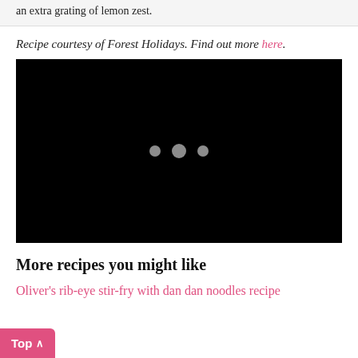an extra grating of lemon zest.
Recipe courtesy of Forest Holidays. Find out more here.
[Figure (screenshot): Black video player embed with three loading dots in the center]
More recipes you might like
Oliver's rib-eye stir-fry with dan dan noodles recipe